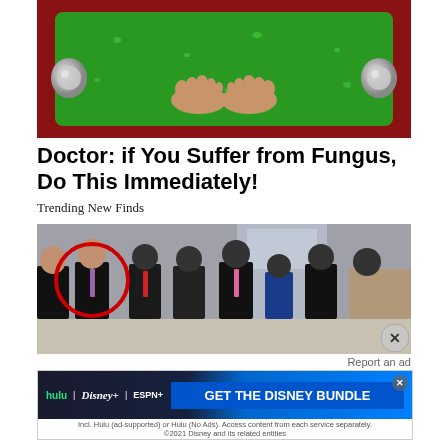[Figure (photo): Feet soaking in a green bubbling foot spa with red basin and chrome handles]
Doctor: if You Suffer from Fungus, Do This Immediately!
Trending New Finds
[Figure (photo): Group of people in formal suits standing in a row, one person circled in red on the left side, faces blurred]
Report an ad
[Figure (screenshot): Disney Bundle advertisement: hulu, Disney+, ESPN+ logos with GET THE DISNEY BUNDLE call to action. Fine print: Incl. Hulu (ad-supported) or Hulu (No Ads). Access content from each service separately. ©2021 Disney and its related entities]